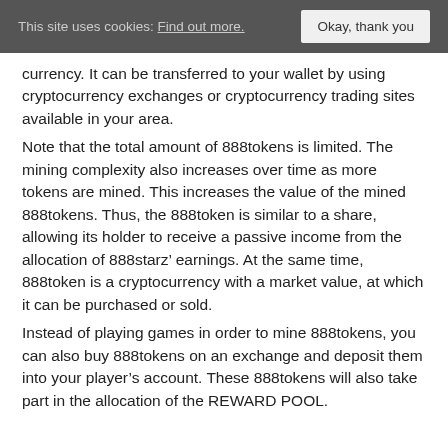This site uses cookies: Find out more.  Okay, thank you
currency. It can be transferred to your wallet by using cryptocurrency exchanges or cryptocurrency trading sites available in your area.
Note that the total amount of 888tokens is limited. The mining complexity also increases over time as more tokens are mined. This increases the value of the mined 888tokens. Thus, the 888token is similar to a share, allowing its holder to receive a passive income from the allocation of 888starz’ earnings. At the same time, 888token is a cryptocurrency with a market value, at which it can be purchased or sold.
Instead of playing games in order to mine 888tokens, you can also buy 888tokens on an exchange and deposit them into your player’s account. These 888tokens will also take part in the allocation of the REWARD POOL.